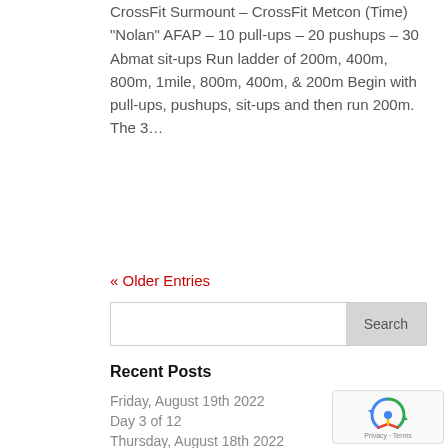CrossFit Surmount – CrossFit Metcon (Time) "Nolan" AFAP – 10 pull-ups – 20 pushups – 30 Abmat sit-ups Run ladder of 200m, 400m, 800m, 1mile, 800m, 400m, & 200m Begin with pull-ups, pushups, sit-ups and then run 200m. The 3…
« Older Entries
Search
Recent Posts
Friday, August 19th 2022
Day 3 of 12
Thursday, August 18th 2022